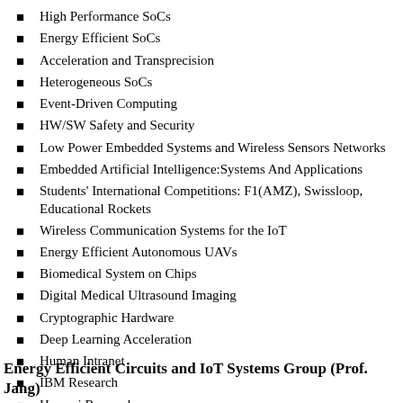High Performance SoCs
Energy Efficient SoCs
Acceleration and Transprecision
Heterogeneous SoCs
Event-Driven Computing
HW/SW Safety and Security
Low Power Embedded Systems and Wireless Sensors Networks
Embedded Artificial Intelligence:Systems And Applications
Students' International Competitions: F1(AMZ), Swissloop, Educational Rockets
Wireless Communication Systems for the IoT
Energy Efficient Autonomous UAVs
Biomedical System on Chips
Digital Medical Ultrasound Imaging
Cryptographic Hardware
Deep Learning Acceleration
Human Intranet
IBM Research
Huawei Research
Energy Efficient Circuits and IoT Systems Group (Prof. Jang)